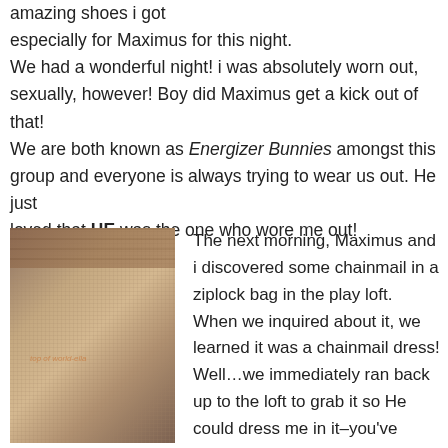amazing shoes i got especially for Maximus for this night. We had a wonderful night! i was absolutely worn out, sexually, however! Boy did Maximus get a kick out of that! We are both known as Energizer Bunnies amongst this group and everyone is always trying to wear us out. He just loved that HE was the one who wore me out!
[Figure (photo): A woman wearing a chainmail dress standing outdoors in front of a brick wall. She has curly hair and is smiling. A watermark is visible on the image.]
The next morning, Maximus and i discovered some chainmail in a ziplock bag in the play loft. When we inquired about it, we learned it was a chainmail dress! Well…we immediately ran back up to the loft to grab it so He could dress me in it–you've never seen two people run so fast in your life! Maximus